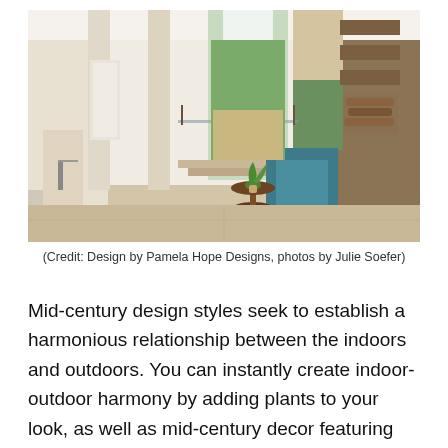[Figure (photo): Interior of a modern mid-century style home showing a teal armchair beside a round side table with a plant, glass staircase railing, large windows overlooking an outdoor patio with greenery, travertine floors, and built-in shelving with stacked wood.]
(Credit: Design by Pamela Hope Designs, photos by Julie Soefer)
Mid-century design styles seek to establish a harmonious relationship between the indoors and outdoors. You can instantly create indoor-outdoor harmony by adding plants to your look, as well as mid-century decor featuring organic materials, like stone, ceramic, and wood.